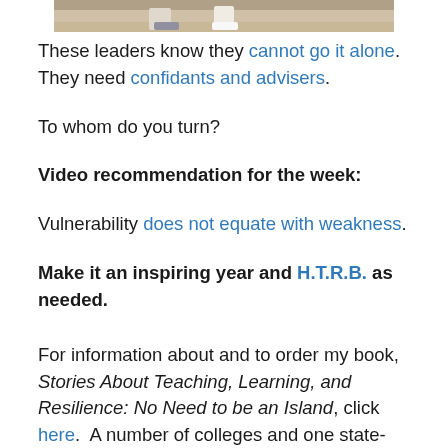[Figure (photo): Partial photo strip at top of page showing feet/shoes of people walking]
These leaders know they cannot go it alone. They need confidants and advisers.
To whom do you turn?
Video recommendation for the week:
Vulnerability does not equate with weakness.
Make it an inspiring year and H.T.R.B. as needed.
For information about and to order my book, Stories About Teaching, Learning, and Resilience: No Need to be an Island, click here.  A number of colleges and one state-wide agency have adopted it for training and coaching purposes. Contact me if you and your team are interested